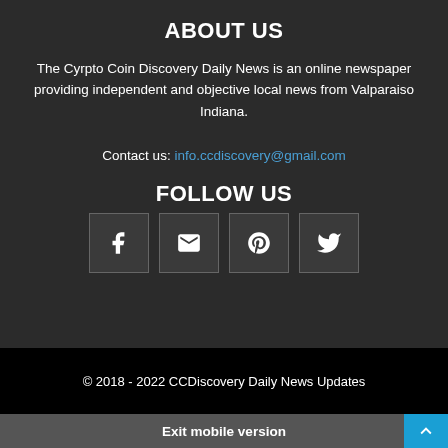ABOUT US
The Cyrpto Coin Discovery Daily News is an online newspaper providing independent and objective local news from Valparaiso Indiana.
Contact us: info.ccdiscovery@gmail.com
FOLLOW US
[Figure (other): Four social media icon buttons: Facebook, Email, Pinterest, Twitter]
© 2018 - 2022 CCDiscovery Daily News Updates
Exit mobile version